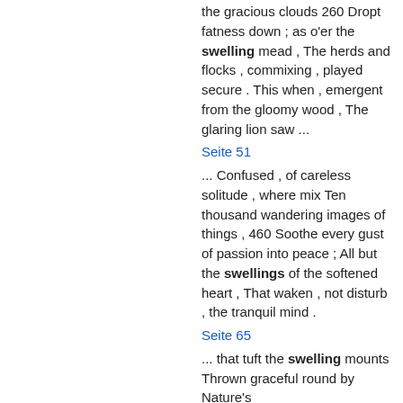the gracious clouds 260 Dropt fatness down ; as o'er the swelling mead , The herds and flocks , commixing , played secure . This when , emergent from the gloomy wood , The glaring lion saw ...
Seite 51
... Confused , of careless solitude , where mix Ten thousand wandering images of things , 460 Soothe every gust of passion into peace ; All but the swellings of the softened heart , That waken , not disturb , the tranquil mind .
Seite 65
... that tuft the swelling mounts Thrown graceful round by Nature's